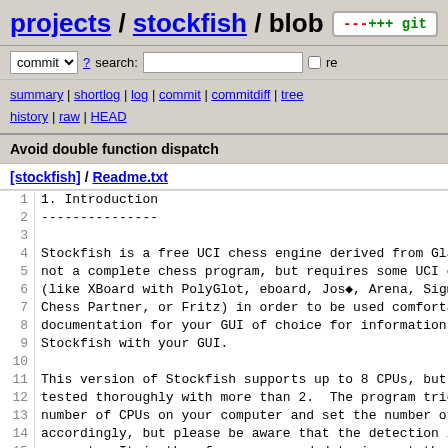projects / stockfish / blob
commit ? search: re
summary | shortlog | log | commit | commitdiff | tree history | raw | HEAD
Avoid double function dispatch
[stockfish] / Readme.txt
1 1. Introduction
2 ---------------
3
4 Stockfish is a free UCI chess engine derived from Glau
5 not a complete chess program, but requires some UCI com
6 (like XBoard with PolyGlot, eboard, Jos◆, Arena, Sigma
7 Chess Partner, or Fritz) in order to be used comfortabl
8 documentation for your GUI of choice for information ab
9 Stockfish with your GUI.
10
11 This version of Stockfish supports up to 8 CPUs, but ha
12 tested thoroughly with more than 2.  The program tries
13 number of CPUs on your computer and set the number of s
14 accordingly, but please be aware that the detection is
15 correct.  It is therefore recommended to inspect the va
16 "Threads" UCI parameter, and to make sure it equals the
17 cores on your computer. If you are using more than four
18 is recommended to raise the value of "Minimum Split Dep
19 to 6.